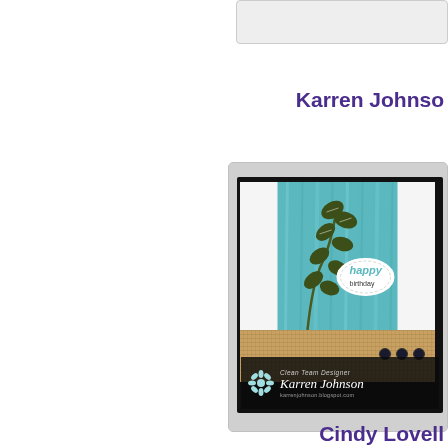[Figure (photo): Partial view of a handmade birthday card in the top-right corner, showing a gray/light background]
Karren Johnson
[Figure (photo): Handmade birthday card by Karren Johnson featuring a teal watercolor background, dark olive green leaves branch, an oval 'happy birthday' sentiment on white with stitched border, burlap band with dark buttons, and a black base with designer watermark signature label]
Cindy Lovell